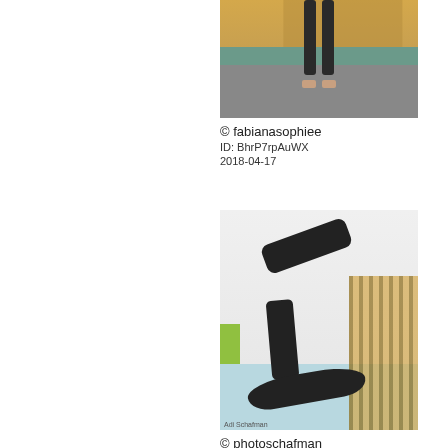[Figure (photo): Partial view of a person standing in a gymnasium/sports hall, showing legs in dark leggings and bare feet on a blue mat, with wooden floor visible in background]
© fabianasophiee
ID: BhrP7rpAuWX
2018-04-17
[Figure (photo): Three acrobats in a gymnasium performing an acrobatic stacking pose — one person arched on the floor, one standing on top of them, and a third person being lifted horizontally in the air with arms outstretched. Wooden wall bars visible in background. Photo credit: Adi Schafman]
© photoschafman
ID: Bhq9OKpjptU
2018-04-17